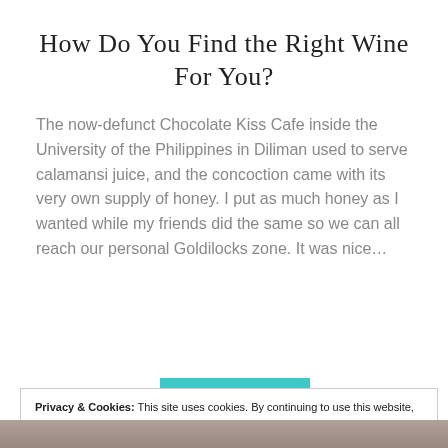How Do You Find the Right Wine For You?
The now-defunct Chocolate Kiss Cafe inside the University of the Philippines in Diliman used to serve calamansi juice, and the concoction came with its very own supply of honey. I put as much honey as I wanted while my friends did the same so we can all reach our personal Goldilocks zone. It was nice…
Privacy & Cookies: This site uses cookies. By continuing to use this website, you agree to their use.
To find out more, including how to control cookies, see here: Cookie Policy
Close and accept